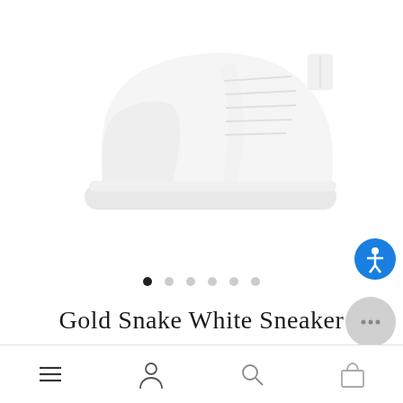[Figure (photo): White sneaker shoe product photo on white background, showing the top/side profile of a white sneaker with white sole]
[Figure (infographic): Carousel navigation dots: 6 dots in a row, first dot is filled/dark (active), remaining 5 are outlined/light]
Gold Snake White Sneaker
[Figure (infographic): Bottom navigation bar with hamburger menu icon, user/account icon, search icon, and shopping bag icon]
[Figure (infographic): Accessibility button (blue circle with person icon) on right side]
[Figure (infographic): Chat button (gray circle with ellipsis) on right side]
[Figure (infographic): Rewards button (black circle with gift icon) on right side]